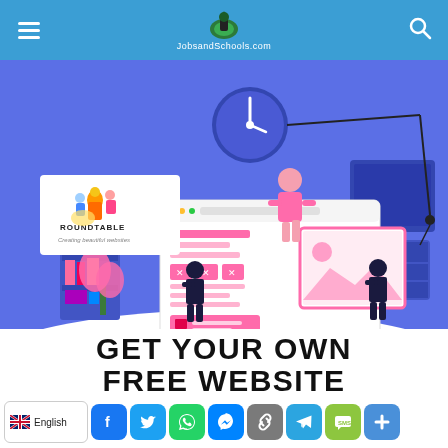JobsandSchools.com
[Figure (illustration): Web design illustration on blue background with a Roundtable logo in top-left corner. Shows cartoon figures building/editing a website mockup with pink UI elements, a clock, plants, bookshelf, and screen. Blue and pink color scheme.]
GET YOUR OWN FREE WEBSITE
English | Share buttons: Facebook, Twitter, WhatsApp, Messenger, Link, Telegram, SMS, More